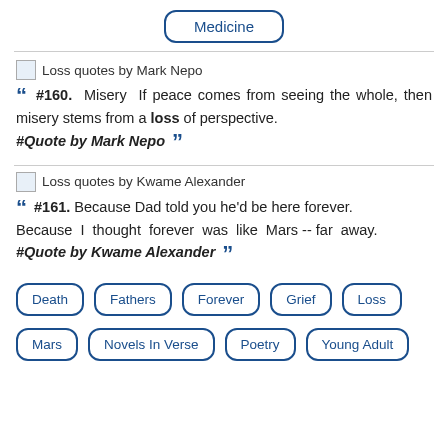Medicine
[Figure (other): Loss quotes by Mark Nepo thumbnail image]
“ #160. Misery If peace comes from seeing the whole, then misery stems from a loss of perspective. #Quote by Mark Nepo ”
[Figure (other): Loss quotes by Kwame Alexander thumbnail image]
“ #161. Because Dad told you he'd be here forever. Because I thought forever was like Mars -- far away. #Quote by Kwame Alexander ”
Death
Fathers
Forever
Grief
Loss
Mars
Novels In Verse
Poetry
Young Adult